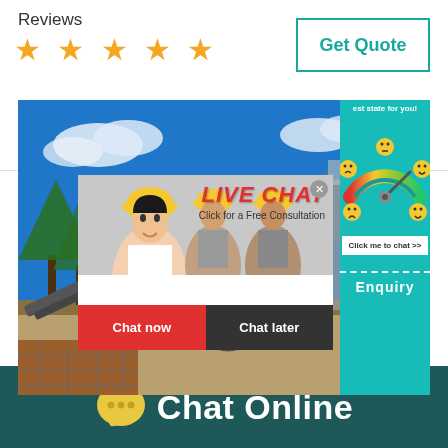Reviews
[Figure (infographic): Five orange star rating icons]
[Figure (infographic): Get Quote button with teal border]
[Figure (photo): Construction site with conveyor belt and industrial equipment under blue sky, with a live chat overlay popup showing workers in hard hats, LIVE CHAT heading in red italic, Chat now and Chat later buttons, and a satisfaction gauge on the right side with Click me to chat button and Enquiry label]
Chat Online